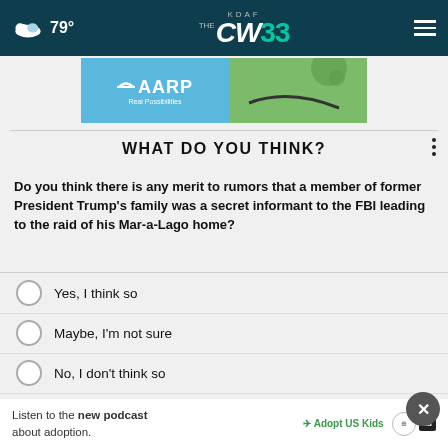KDAF CW33 — 79°
[Figure (screenshot): AARP Real Possibilities advertisement banner]
WHAT DO YOU THINK?
Do you think there is any merit to rumors that a member of former President Trump's family was a secret informant to the FBI leading to the raid of his Mar-a-Lago home?
Yes, I think so
Maybe, I'm not sure
No, I don't think so
Other / No opinion
Listen to the new podcast about adoption.